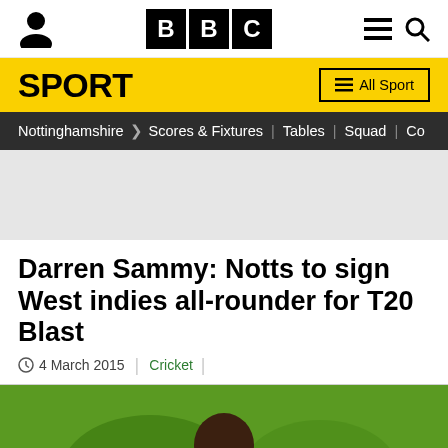BBC Sport
SPORT | All Sport
Nottinghamshire > Scores & Fixtures | Tables | Squad | Co
Darren Sammy: Notts to sign West indies all-rounder for T20 Blast
4 March 2015 | Cricket
[Figure (photo): Photo of Darren Sammy, a cricketer, shown from shoulders up against a green outdoor background]